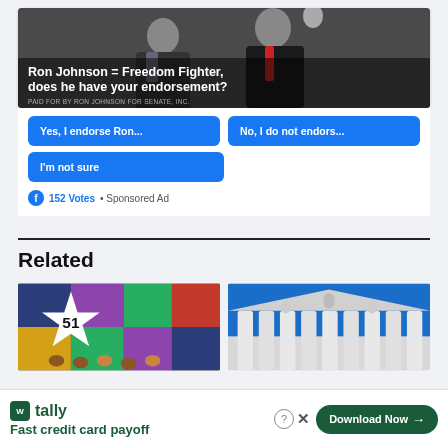[Figure (photo): Facebook political ad showing Ron Johnson with another person (Donald Trump), with poll buttons asking about endorsement]
Ron Johnson = Freedom Fighter, does he have your endorsement?
Yes, I endorse Ron...
No, I do not endors...
I'm not sure
152 Votes • Sponsored Ad
Related
[Figure (photo): Colorful quilt with star showing number 51]
[Figure (photo): Supreme Court building columns against blue sky]
[Figure (other): Tally app advertisement - Fast credit card payoff - Download Now button]